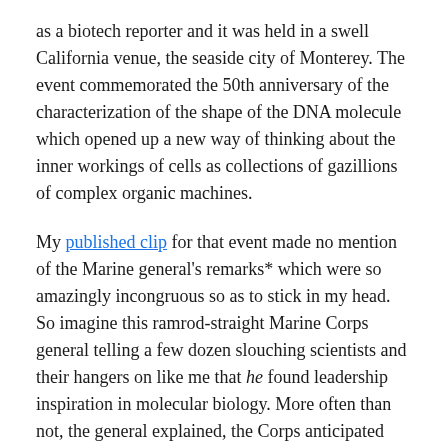as a biotech reporter and it was held in a swell California venue, the seaside city of Monterey. The event commemorated the 50th anniversary of the characterization of the shape of the DNA molecule which opened up a new way of thinking about the inner workings of cells as collections of gazillions of complex organic machines.
My published clip for that event made no mention of the Marine general's remarks* which were so amazingly incongruous so as to stick in my head. So imagine this ramrod-straight Marine Corps general telling a few dozen slouching scientists and their hangers on like me that he found leadership inspiration in molecular biology. More often than not, the general explained, the Corps anticipated that future “battles” might involve two or three Marines from a platoon engaged in guerrilla conflict, none above the rank of private –Â  and God forbid they should get cut off and out-of-radio contact, and be unable to think for themselves.